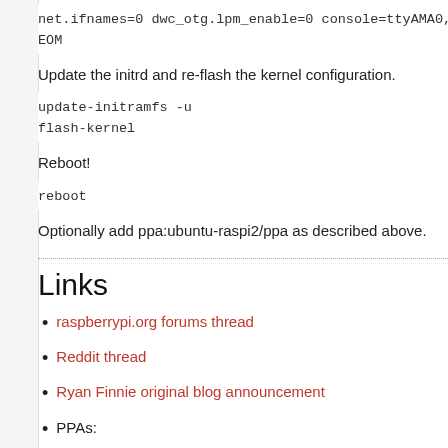net.ifnames=0 dwc_otg.lpm_enable=0 console=ttyAMA0,1
EOM
Update the initrd and re-flash the kernel configuration.
update-initramfs -u
flash-kernel
Reboot!
reboot
Optionally add ppa:ubuntu-raspi2/ppa as described above.
Links
raspberrypi.org forums thread
Reddit thread
Ryan Finnie original blog announcement
PPAs:
ppa:fo0bar/rpi2 - Stable packages (enabled in the
ppa:fo0bar/rpi2-staging - Staging builds